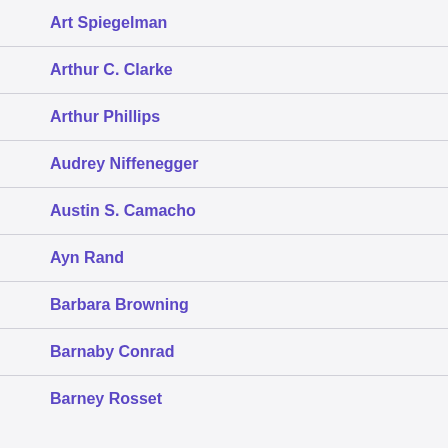Art Spiegelman
Arthur C. Clarke
Arthur Phillips
Audrey Niffenegger
Austin S. Camacho
Ayn Rand
Barbara Browning
Barnaby Conrad
Barney Rosset